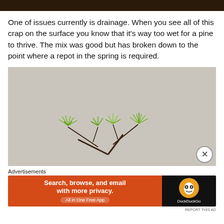[Figure (photo): Top portion of a dark image, cropped at top of page]
One of issues currently is drainage. When you see all of this crap on the surface you know that it's way too wet for a pine to thrive. The mix was good but has broken down to the point where a repot in the spring is required.
[Figure (photo): A bonsai pine tree photographed against a light gray background. The tree shows green needle foliage and twisted branches typical of a miniature pine bonsai.]
Advertisements
[Figure (screenshot): DuckDuckGo advertisement banner: orange left side reads 'Search, browse, and email with more privacy. All in One Free App', dark right side shows DuckDuckGo logo and duck icon.]